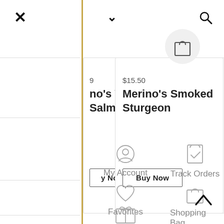[Figure (screenshot): E-commerce website navigation and product listing screenshot showing two product cards (Merino's Wild Smoked Salmon and Merino's Smoked Sturgeon), navigation icons (My Account, Track Orders, Favorites, Shopping Bag, Gift Cards), and UI controls (close X, chevron down, search icon, shopping bag circle icon, chevron up).]
$15.50
Merino's Wild Smoked Salmon
Merino's Smoked Sturgeon
Buy Now
Buy Now
My Account
Track Orders
Favorites
Shopping Bag
Gift Cards